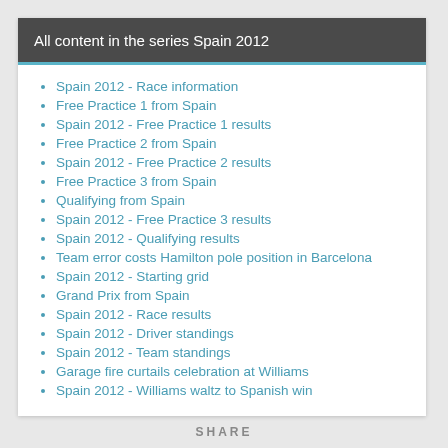All content in the series Spain 2012
Spain 2012 - Race information
Free Practice 1 from Spain
Spain 2012 - Free Practice 1 results
Free Practice 2 from Spain
Spain 2012 - Free Practice 2 results
Free Practice 3 from Spain
Qualifying from Spain
Spain 2012 - Free Practice 3 results
Spain 2012 - Qualifying results
Team error costs Hamilton pole position in Barcelona
Spain 2012 - Starting grid
Grand Prix from Spain
Spain 2012 - Race results
Spain 2012 - Driver standings
Spain 2012 - Team standings
Garage fire curtails celebration at Williams
Spain 2012 - Williams waltz to Spanish win
SHARE